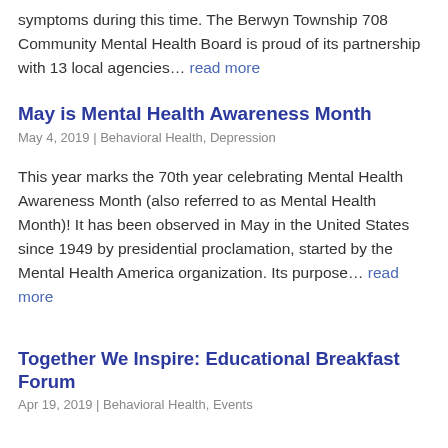symptoms during this time. The Berwyn Township 708 Community Mental Health Board is proud of its partnership with 13 local agencies... read more
May is Mental Health Awareness Month
May 4, 2019 | Behavioral Health, Depression
This year marks the 70th year celebrating Mental Health Awareness Month (also referred to as Mental Health Month)! It has been observed in May in the United States since 1949 by presidential proclamation, started by the Mental Health America organization. Its purpose... read more
Together We Inspire: Educational Breakfast Forum
Apr 19, 2019 | Behavioral Health, Events